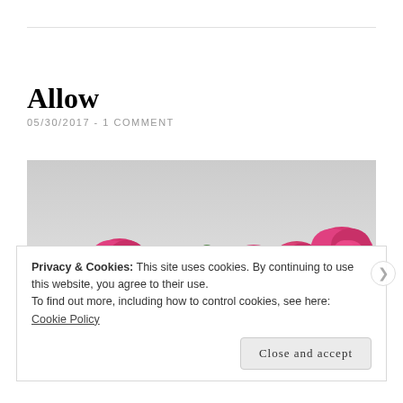Allow
05/30/2017  -  1 COMMENT
[Figure (photo): Pink peony flowers against a light grey background, photographed from below with stems visible, multiple blooms at different stages]
Privacy & Cookies: This site uses cookies. By continuing to use this website, you agree to their use.
To find out more, including how to control cookies, see here:
Cookie Policy
Close and accept